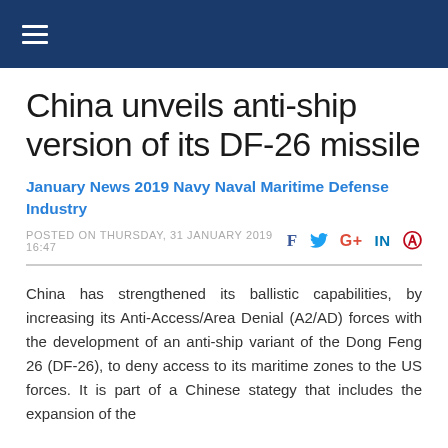Navigation menu header bar
China unveils anti-ship version of its DF-26 missile
January News 2019 Navy Naval Maritime Defense Industry
POSTED ON THURSDAY, 31 JANUARY 2019 16:47
China has strengthened its ballistic capabilities, by increasing its Anti-Access/Area Denial (A2/AD) forces with the development of an anti-ship variant of the Dong Feng 26 (DF-26), to deny access to its maritime zones to the US forces. It is part of a Chinese stategy that includes the expansion of the